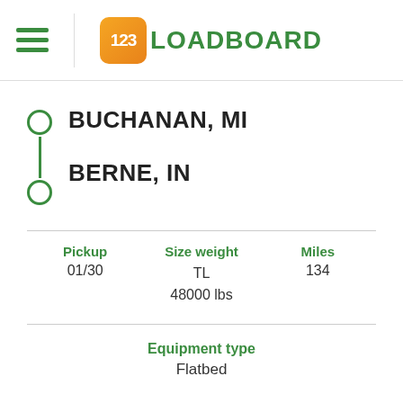123LOADBOARD
BUCHANAN, MI
BERNE, IN
Pickup 01/30
Size weight TL 48000 lbs
Miles 134
Equipment type Flatbed